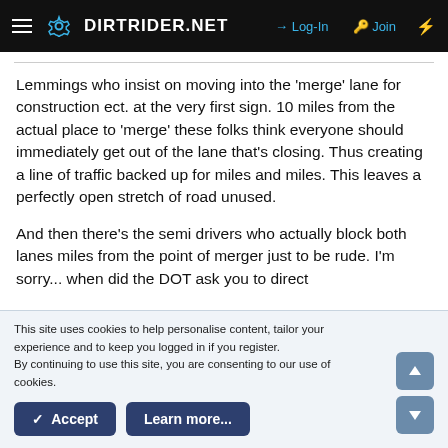DIRTRIDER.NET  →Log-In  Join
Lemmings who insist on moving into the 'merge' lane for construction ect. at the very first sign. 10 miles from the actual place to 'merge' these folks think everyone should immediately get out of the lane that's closing. Thus creating a line of traffic backed up for miles and miles. This leaves a perfectly open stretch of road unused.
And then there's the semi drivers who actually block both lanes miles from the point of merger just to be rude. I'm sorry... when did the DOT ask you to direct
This site uses cookies to help personalise content, tailor your experience and to keep you logged in if you register.
By continuing to use this site, you are consenting to our use of cookies.